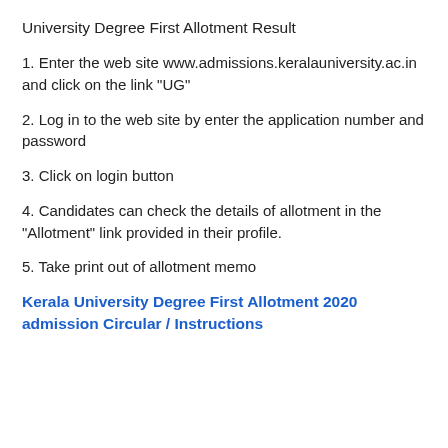University Degree First Allotment Result
1. Enter the web site www.admissions.keralauniversity.ac.in and click on the link "UG"
2. Log in to the web site by enter the application number and password
3. Click on login button
4. Candidates can check the details of allotment in the "Allotment" link provided in their profile.
5. Take print out of allotment memo
Kerala University Degree First Allotment 2020 admission Circular / Instructions